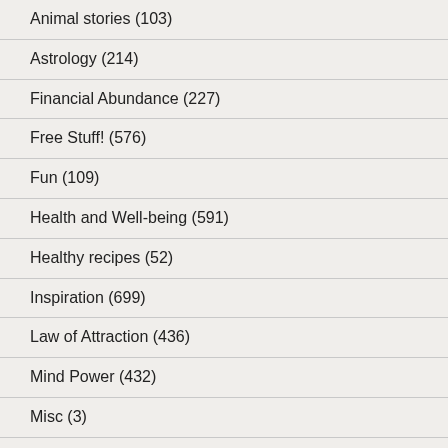Animal stories (103)
Astrology (214)
Financial Abundance (227)
Free Stuff! (576)
Fun (109)
Health and Well-being (591)
Healthy recipes (52)
Inspiration (699)
Law of Attraction (436)
Mind Power (432)
Misc (3)